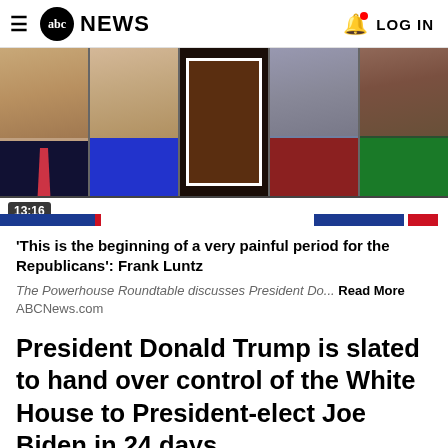abc NEWS  LOG IN
[Figure (screenshot): ABC News video thumbnail showing five panelists from The Powerhouse Roundtable with a video timecode of 13:16 and blue/red bar at bottom]
'This is the beginning of a very painful period for the Republicans': Frank Luntz
The Powerhouse Roundtable discusses President Do... Read More ABCNews.com
President Donald Trump is slated to hand over control of the White House to President-elect Joe Biden in 24 days.